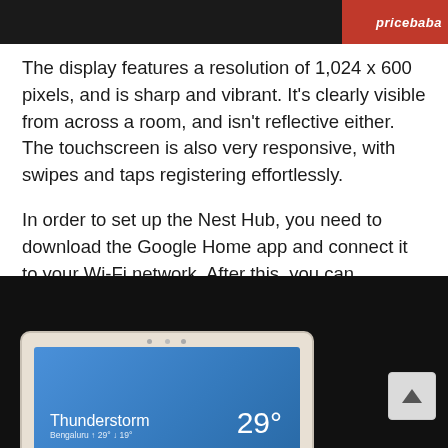[Figure (photo): Top portion of a product photo showing a dark background with 'pricebaba' logo/watermark in red on the right side]
The display features a resolution of 1,024 x 600 pixels, and is sharp and vibrant. It's clearly visible from across a room, and isn't reflective either. The touchscreen is also very responsive, with swipes and taps registering effortlessly.
In order to set up the Nest Hub, you need to download the Google Home app and connect it to your Wi-Fi network. After this, you can customise various parameters, like naming your device, specifying which room it's in, what shows on the display when it's not in use, and more.
[Figure (photo): Photo of a Google Nest Hub smart display showing a weather screen with 'Thunderstorm' text, Bengaluru location, temperature reading of 29 degrees, on a dark background. A scroll-to-top button is visible in the bottom right corner.]